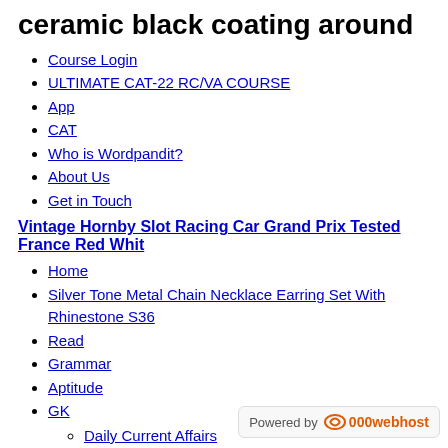ceramic black coating around
Course Login
ULTIMATE CAT-22 RC/VA COURSE
App
CAT
Who is Wordpandit?
About Us
Get in Touch
Vintage Hornby Slot Racing Car Grand Prix Tested France Red Whit
Home
Silver Tone Metal Chain Necklace Earring Set With Rhinestone S36
Read
Grammar
Aptitude
GK
Daily Current Affairs
Current Affairs Tests
Static GK
Static GK Lists
Topics in Focus